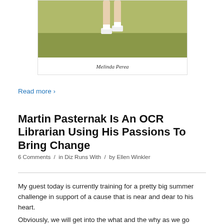[Figure (photo): Photo of a runner's legs on grass]
Melinda Perea
Read more ›
Martin Pasternak Is An OCR Librarian Using His Passions To Bring Change
6 Comments / in Diz Runs With / by Ellen Winkler
My guest today is currently training for a pretty big summer challenge in support of a cause that is near and dear to his heart.
Obviously, we will get into the what and the why as we go